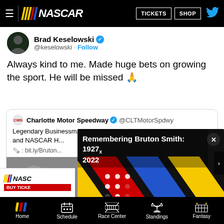[Figure (screenshot): NASCAR website navigation bar with hamburger menu, NASCAR logo, TICKETS and SHOP buttons]
Brad Keselowski @keselowski · Follow
Always kind to me. Made huge bets on growing the sport. He will be missed 🙏
Charlotte Motor Speedway @CLTMotorSpdwy
Legendary Businessman, Philanthropist, and NASCAR H...
: bit.ly/Bruton...
[Figure (screenshot): Video overlay showing 'Remembering Bruton Smith: 1927 - 2022' title over a black background with diagonal yellow, red, and blue stripes (NASCAR colors) and a loading spinner dots pattern]
[Figure (logo): NASCAR BUY TICKETS advertisement banner]
[Figure (screenshot): Bottom navigation bar with Home, Schedule, Race Center, Standings, Fantasy icons]